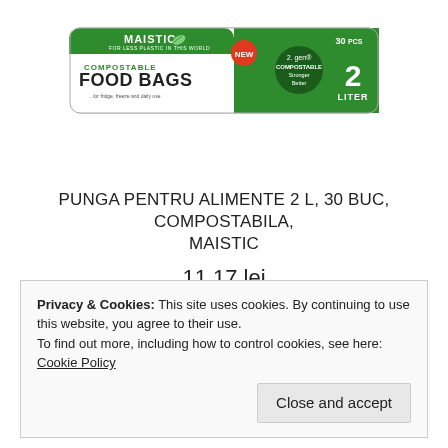[Figure (photo): Maistic Compostable Food Bags 2 Liter 30 pcs product packaging — a rolled green and white package with 'MAISTIC FOR LESS PLASTIC IN THIS WORLD', 'COMPOSTABLE FOOD BAGS', 'NEW', '2. gen COMPOSTABLE Stronger Better', '30 PCS', '2 LITER' printed on it.]
PUNGA PENTRU ALIMENTE 2 L, 30 BUC, COMPOSTABILA, MAISTIC
11,17 lei
Privacy & Cookies: This site uses cookies. By continuing to use this website, you agree to their use.
To find out more, including how to control cookies, see here: Cookie Policy
Close and accept